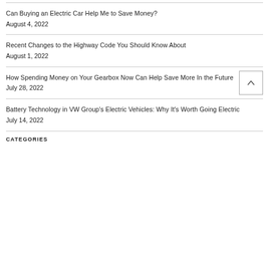Can Buying an Electric Car Help Me to Save Money?
August 4, 2022
Recent Changes to the Highway Code You Should Know About
August 1, 2022
How Spending Money on Your Gearbox Now Can Help Save More In the Future
July 28, 2022
Battery Technology in VW Group's Electric Vehicles: Why It's Worth Going Electric
July 14, 2022
CATEGORIES